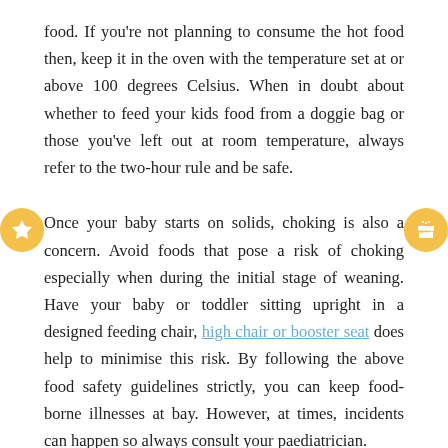food. If you're not planning to consume the hot food then, keep it in the oven with the temperature set at or above 100 degrees Celsius. When in doubt about whether to feed your kids food from a doggie bag or those you've left out at room temperature, always refer to the two-hour rule and be safe.
Once your baby starts on solids, choking is also a concern. Avoid foods that pose a risk of choking especially when during the initial stage of weaning. Have your baby or toddler sitting upright in a designed feeding chair, high chair or booster seat does help to minimise this risk. By following the above food safety guidelines strictly, you can keep food-borne illnesses at bay. However, at times, incidents can happen so always consult your paediatrician.